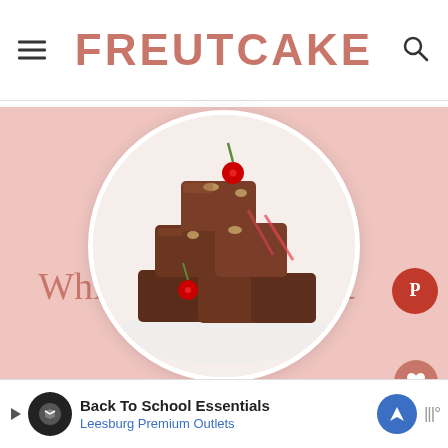FREUTCAKE
[Figure (photo): Stacked chocolate fudge pieces with maraschino cherries and walnuts, displayed on a white plate inside a circular crop]
Whiskey Cherry Nut Fudge
[Figure (other): Advertisement banner: Back To School Essentials - Leesburg Premium Outlets]
987